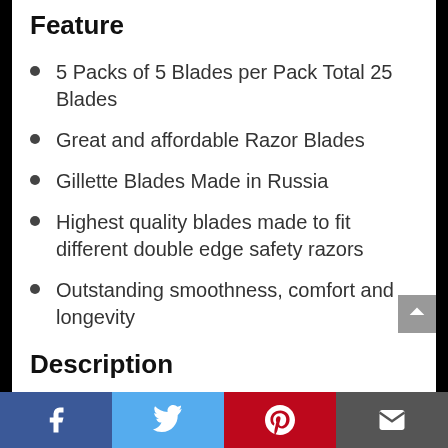Feature
5 Packs of 5 Blades per Pack Total 25 Blades
Great and affordable Razor Blades
Gillette Blades Made in Russia
Highest quality blades made to fit different double edge safety razors
Outstanding smoothness, comfort and longevity
Description